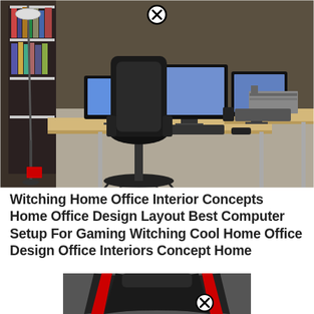[Figure (photo): Home office setup with L-shaped wooden desk, three monitors, office chair, bookshelf with books, floor lamp, and printer. Room has beige/grey carpet and walls.]
Witching Home Office Interior Concepts Home Office Design Layout Best Computer Setup For Gaming Witching Cool Home Office Design Office Interiors Concept Home
[Figure (photo): Gaming chair partially visible, black and red color scheme, with a circular X/close button overlay.]